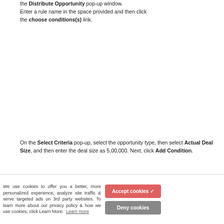the Distribute Opportunity pop-up window. Enter a rule name in the space provided and then click the choose conditions(s) link.
On the Select Criteria pop-up, select the opportunity type, then select Actual Deal Size, and then enter the deal size as 5,00,000. Next, click Add Condition.
We use cookies to offer you a better, more personalized experience, analyze site traffic & serve targeted ads on 3rd party websites. To learn more about our privacy policy & how we use cookies, click Learn More: Learn more